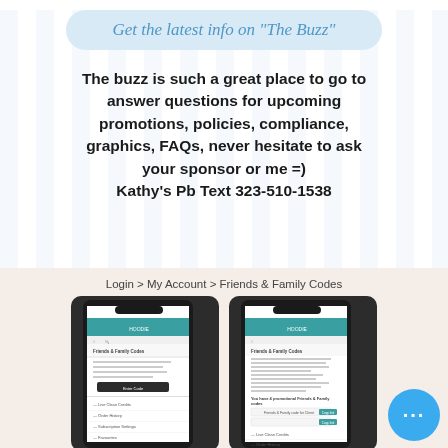Get the latest info on "The Buzz"
The buzz is such a great place to go to answer questions for upcoming promotions, policies, compliance, graphics, FAQs, never hesitate to ask your sponsor or me =)
Kathy's Pb Text 323-510-1538
Login > My Account > Friends & Family Codes
[Figure (screenshot): Two smartphone screenshots showing a website's Friends & Family Codes page under My Account section]